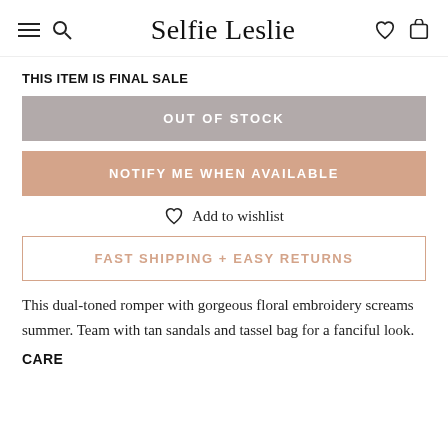Selfie Leslie
THIS ITEM IS FINAL SALE
OUT OF STOCK
NOTIFY ME WHEN AVAILABLE
Add to wishlist
FAST SHIPPING + EASY RETURNS
This dual-toned romper with gorgeous floral embroidery screams summer. Team with tan sandals and tassel bag for a fanciful look.
CARE